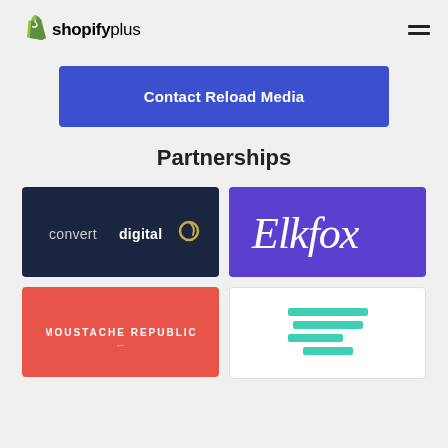shopifyplus
Contact Reload Media
Partnerships
[Figure (logo): convert digital logo on dark navy background]
[Figure (logo): Elkfox logo in white cursive text on purple background]
[Figure (logo): Moustache Republic logo on coral/red background]
[Figure (logo): Streamlined logo on white background with teal horizontal bars]